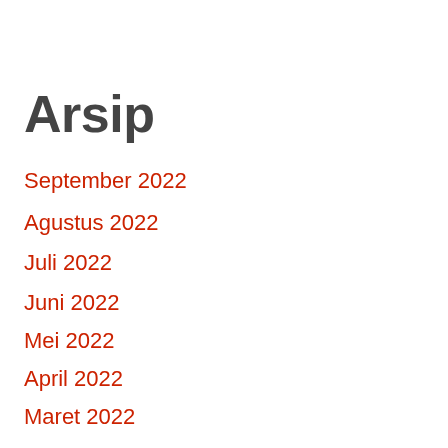Arsip
September 2022
Agustus 2022
Juli 2022
Juni 2022
Mei 2022
April 2022
Maret 2022
Februari 2022
Januari 2022
Desember 2021